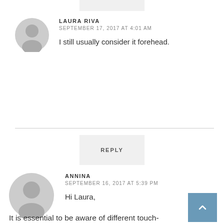[Figure (other): Partially visible reply button at top of page]
LAURA RIVA
SEPTEMBER 17, 2017 AT 4:01 AM
I still usually consider it forehead.
REPLY
ANNINA
SEPTEMBER 16, 2017 AT 5:39 PM
Hi Laura,

thank you for another great article that provides useful insight and orientation. I have experienced all of the categories you mention (luckily not every single point in the black category).

It is essential to be aware of different touch-